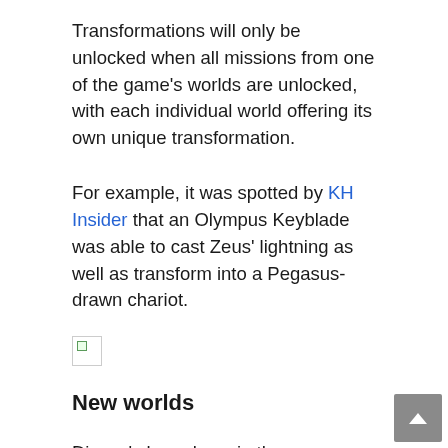Transformations will only be unlocked when all missions from one of the game's worlds are unlocked, with each individual world offering its own unique transformation.
For example, it was spotted by KH Insider that an Olympus Keyblade was able to cast Zeus' lightning as well as transform into a Pegasus-drawn chariot.
[Figure (other): Broken/missing image placeholder]
New worlds
Disney's been busy in the years since Kingdom Hearts 2 was first released so as you'd expect, there are going to be a few new worlds to play in. Thus far the Kingdom of Corona from Tangled